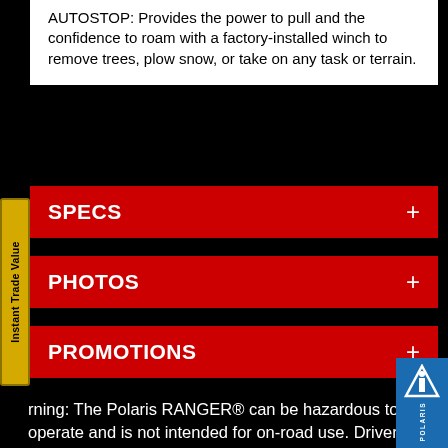AUTOSTOP: Provides the power to pull and the confidence to roam with a factory-installed winch to remove trees, plow snow, or take on any task or terrain.
SPECS +
PHOTOS +
PROMOTIONS +
Instant Trade Value
rning: The Polaris RANGER® can be hazardous to operate and is not intended for on-road use. Driver must be at least 16 years old with a valid driver's license to operate. Passengers must be at least 12 years old. Drivers and passengers should always wear helmets, eye protection, and seat belts. Always use cab nets or doors (as equipped). Never engage in stunt driving, and avoid excessive sp and sharp turns. Riding and alcohol / drugs don't mix. All drivers
[Figure (logo): Polaris logo in blue box, bottom right corner]